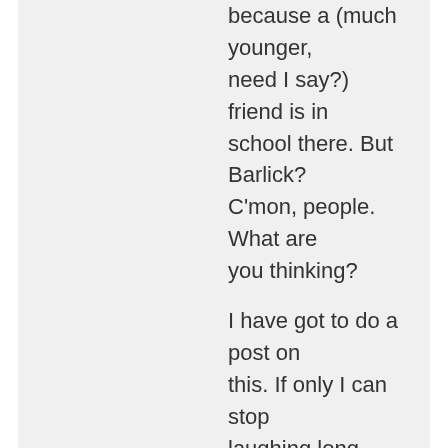because a (much younger, need I say?) friend is in school there. But Barlick? C'mon, people. What are you thinking?

I have got to do a post on this. If only I can stop laughing long enough.
★ Like
↳ Reply
'M.' on May 27, 2016 at 3:01 pm
lmao